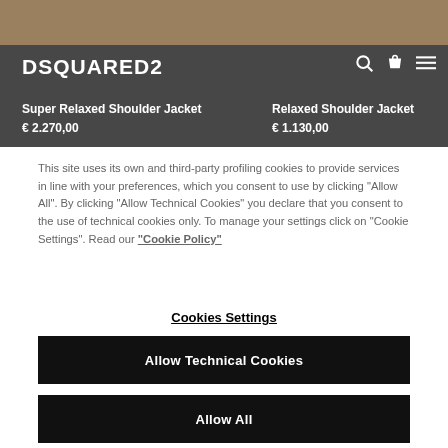DSQUARED2
Super Relaxed Shoulder Jacket
€ 2.270,00
Relaxed Shoulder Jacket
€ 1.130,00
This site uses its own and third-party profiling cookies to provide services in line with your preferences, which you consent to use by clicking "Allow All". By clicking "Allow Technical Cookies" you declare that you consent to the use of technical cookies only. To manage your settings click on "Cookie Settings". Read our "Cookie Policy"
Cookies Settings
Allow Technical Cookies
Allow All